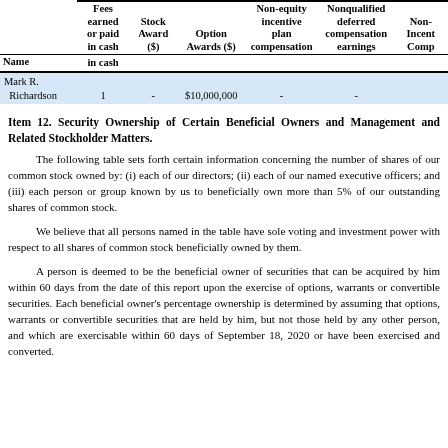| Name | Fees earned or paid in cash | Stock Award ($) | Option Awards ($) | Non-equity incentive plan compensation | Nonqualified deferred compensation earnings | Non-Incentive Comp |
| --- | --- | --- | --- | --- | --- | --- |
| Mark R. Richardson | 1 | - | $10,000,000 | - | - |  |
Item 12. Security Ownership of Certain Beneficial Owners and Management and Related Stockholder Matters.
The following table sets forth certain information concerning the number of shares of our common stock owned by: (i) each of our directors; (ii) each of our named executive officers; and (iii) each person or group known by us to beneficially own more than 5% of our outstanding shares of common stock.
We believe that all persons named in the table have sole voting and investment power with respect to all shares of common stock beneficially owned by them.
A person is deemed to be the beneficial owner of securities that can be acquired by him within 60 days from the date of this report upon the exercise of options, warrants or convertible securities. Each beneficial owner's percentage ownership is determined by assuming that options, warrants or convertible securities that are held by him, but not those held by any other person, and which are exercisable within 60 days of September 18, 2020 or have been exercised and converted.